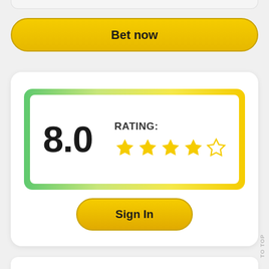[Figure (screenshot): Partial bar at top of page, cropped UI element]
Bet now
[Figure (infographic): Rating card showing score 8.0 with 4.5 star rating (RATING: 4 filled stars and 1 half/empty star), with gradient green-to-yellow border]
Sign In
Content ≡
TO TOP